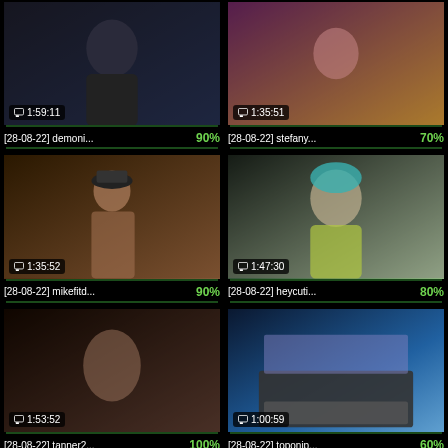[Figure (screenshot): Video thumbnail 1 with duration 1:59:11]
[28-08-22] demoni...  90%
[Figure (screenshot): Video thumbnail 2 with duration 1:35:51]
[28-08-22] stefany...  70%
[Figure (screenshot): Video thumbnail 3 with duration 1:35:52]
[28-08-22] mikefitd...  90%
[Figure (screenshot): Video thumbnail 4 with duration 1:47:30]
[28-08-22] heycuti...  80%
[Figure (screenshot): Video thumbnail 5 with duration 1:53:52]
[28-08-22] tanner2...  100%
[Figure (screenshot): Video thumbnail 6 with duration 1:00:59]
[28-08-22] toponip...  60%